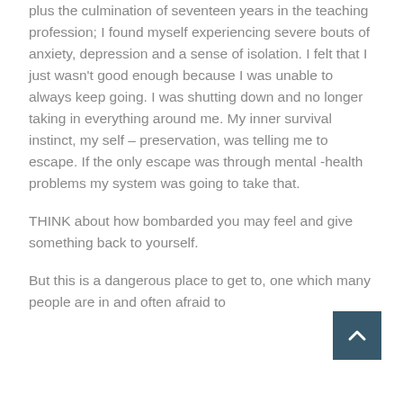plus the culmination of seventeen years in the teaching profession; I found myself experiencing severe bouts of anxiety, depression and a sense of isolation. I felt that I just wasn't good enough because I was unable to always keep going. I was shutting down and no longer taking in everything around me. My inner survival instinct, my self – preservation, was telling me to escape. If the only escape was through mental -health problems my system was going to take that.
THINK about how bombarded you may feel and give something back to yourself.
But this is a dangerous place to get to, one which many people are in and often afraid to